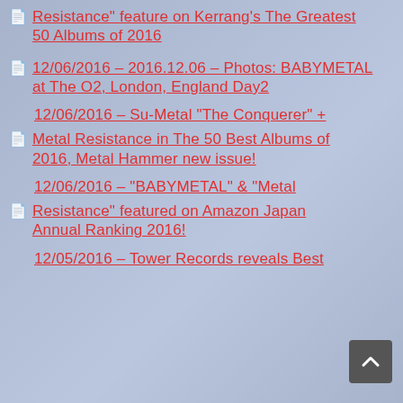Resistance" feature on Kerrang's The Greatest 50 Albums of 2016
12/06/2016 – 2016.12.06 – Photos: BABYMETAL at The O2, London, England Day2
12/06/2016 – Su-Metal "The Conquerer" + Metal Resistance in The 50 Best Albums of 2016, Metal Hammer new issue!
12/06/2016 – "BABYMETAL" & "Metal Resistance" featured on Amazon Japan Annual Ranking 2016!
12/05/2016 – Tower Records reveals Best